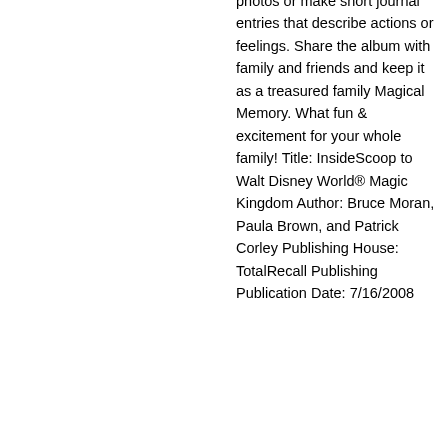photos or make short journal entries that describe actions or feelings. Share the album with family and friends and keep it as a treasured family Magical Memory. What fun & excitement for your whole family! Title: InsideScoop to Walt Disney World® Magic Kingdom Author: Bruce Moran, Paula Brown, and Patrick Corley Publishing House: TotalRecall Publishing Publication Date: 7/16/2008